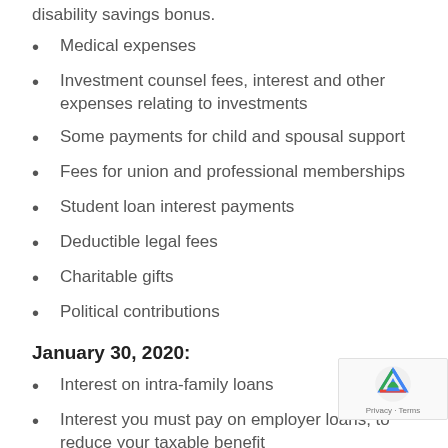disability savings bonus.
Medical expenses
Investment counsel fees, interest and other expenses relating to investments
Some payments for child and spousal support
Fees for union and professional memberships
Student loan interest payments
Deductible legal fees
Charitable gifts
Political contributions
January 30, 2020:
Interest on intra-family loans
Interest you must pay on employer loans, to reduce your taxable benefit
February 28, 2020: